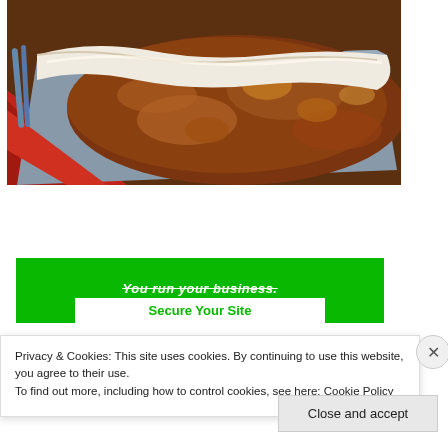[Figure (photo): Close-up photo of a baked pie or casserole with a white dough/pastry crust edge and a rich, saucy brown filling in a rectangular baking dish on a red and blue surface.]
[Figure (other): Green advertisement banner with bold italic struck-through white text reading 'You run your business.' and a white 'Secure Your Site' button in green text.]
Privacy & Cookies: This site uses cookies. By continuing to use this website, you agree to their use.
To find out more, including how to control cookies, see here: Cookie Policy
Close and accept